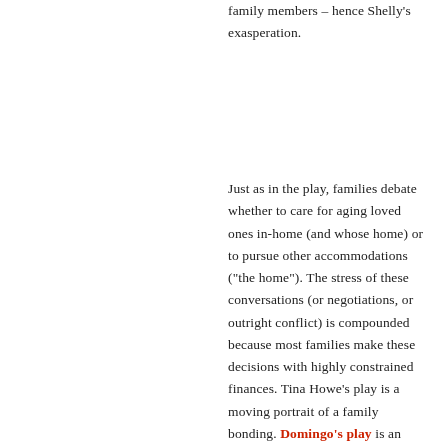family members – hence Shelly's exasperation.
Just as in the play, families debate whether to care for aging loved ones in-home (and whose home) or to pursue other accommodations ("the home"). The stress of these conversations (or negotiations, or outright conflict) is compounded because most families make these decisions with highly constrained finances. Tina Howe's play is a moving portrait of a family bonding. Domingo's play is an unnerving mirror. Shelly feels that "every day is an emergency," and for so many of us